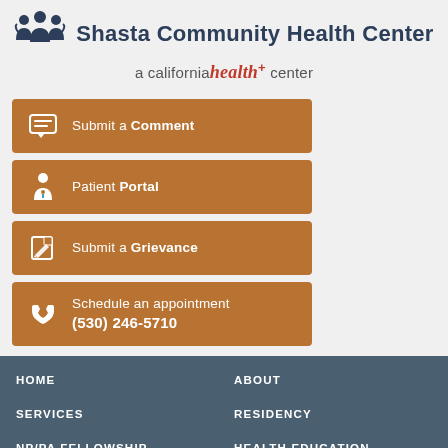[Figure (logo): Shasta Community Health Center logo with people icon and text]
Shasta Community Health Center
a california health+ center
Submit a Comment
Patient Portal
Submit a Grievance
Schedule an appointment (530) 246-5710
HOME
ABOUT
SERVICES
RESIDENCY
NP/PA FELLOWSHIP
HEALTH EDUCATION
CAREERS
CONTACT